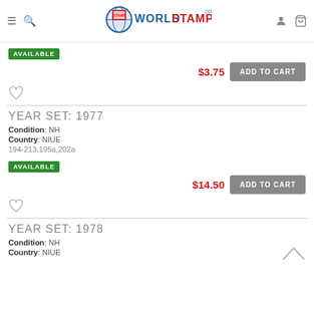WorldStamps.com
AVAILABLE
$3.75  ADD TO CART
♡
YEAR SET: 1977
Condition: NH
Country: NIUE
194-213,195a,202a
AVAILABLE
$14.50  ADD TO CART
♡
YEAR SET: 1978
Condition: NH
Country: NIUE